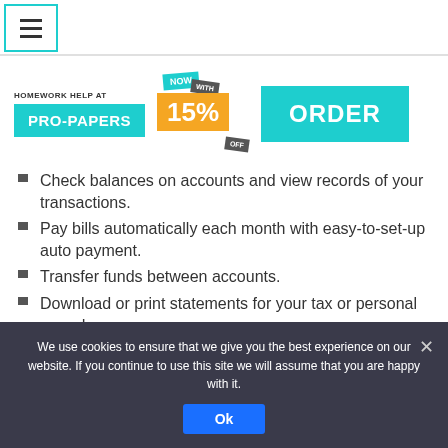[Figure (screenshot): Hamburger menu icon inside teal-bordered box]
[Figure (logo): Pro-Papers homework help banner with NOW 15% OFF discount tag and ORDER button]
Check balances on accounts and view records of your transactions.
Pay bills automatically each month with easy-to-set-up auto payment.
Transfer funds between accounts.
Download or print statements for your tax or personal records.
Access your account 24/7.
We use cookies to ensure that we give you the best experience on our website. If you continue to use this site we will assume that you are happy with it.